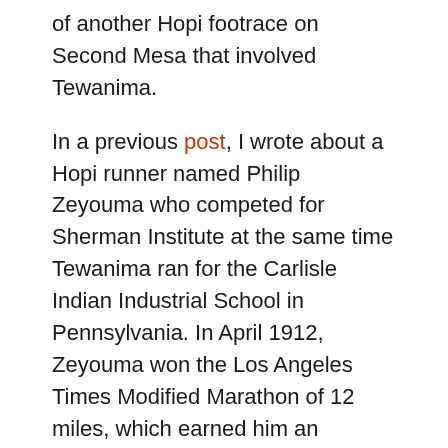of another Hopi footrace on Second Mesa that involved Tewanima.
In a previous post, I wrote about a Hopi runner named Philip Zeyouma who competed for Sherman Institute at the same time Tewanima ran for the Carlisle Indian Industrial School in Pennsylvania. In April 1912, Zeyouma won the Los Angeles Times Modified Marathon of 12 miles, which earned him an opportunity to compete for the U.S. team in Stockholm. On the other side of the country, Tewanima, who by this time had won several running events, was also scheduled to run in the Olympics.